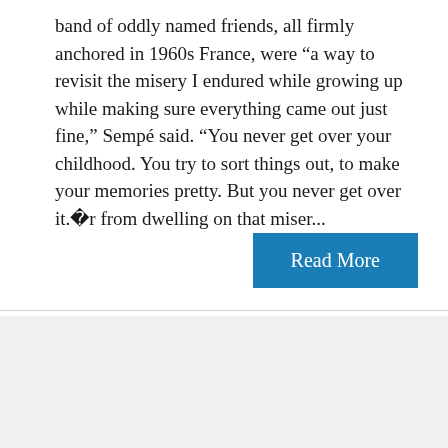band of oddly named friends, all firmly anchored in 1960s France, were “a way to revisit the misery I endured while growing up while making sure everything came out just fine,” Sempé said. “You never get over your childhood. You try to sort things out, to make your memories pretty. But you never get over it.”Far from dwelling on that miser...
Read More